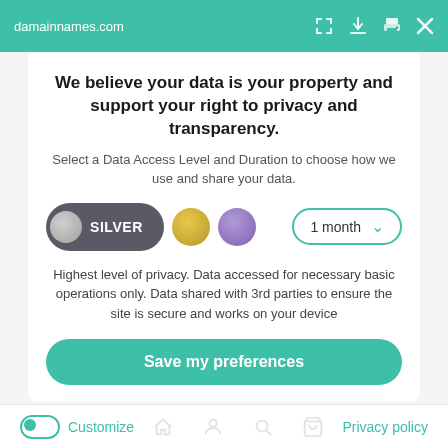damainnames.com
We believe your data is your property and support your right to privacy and transparency.
Select a Data Access Level and Duration to choose how we use and share your data.
[Figure (infographic): Data access level selector showing: SILVER pill (active, dark background), gold circle, purple circle, and a '1 month' dropdown selector with teal border]
Highest level of privacy. Data accessed for necessary basic operations only. Data shared with 3rd parties to ensure the site is secure and works on your device
Save my preferences
Customize   Privacy policy